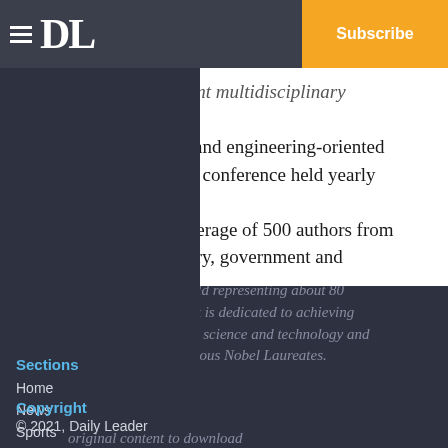DL | Subscribe
Summit (important multidisciplinary conference) is a science-focused and engineering-oriented multidisciplinary conference held yearly around the world with an average of 500 authors from academia, industry, government and entrepreneurship world representing about 80 countries. The summit is dedicated to achieving sustainability through science and technology and hosts regularly numerous Nobel Laureates.
original content to download
media:
Sections
Home
News
Sports
Obits
Opinion
Classifieds
Services
About Us
Customer Service
Policies
Subscriptions
Source: Flogen
Copyright
© 2021, Daily Leader